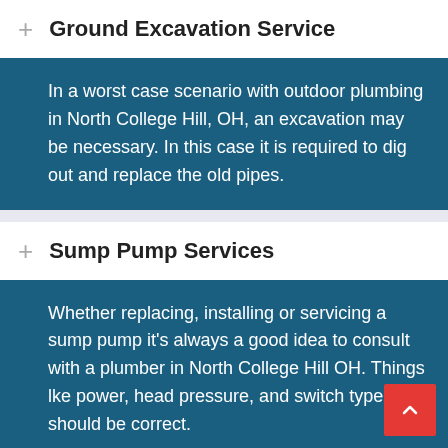Ground Excavation Service
In a worst case scenario with outdoor plumbing in North College Hill, OH, an excavation may be necessary. In this case it is required to dig out and replace the old pipes.
Sump Pump Services
Whether replacing, installing or servicing a sump pump it's always a good idea to consult with a plumber in North College Hill OH. Things lke power, head pressure, and switch type should be correct.